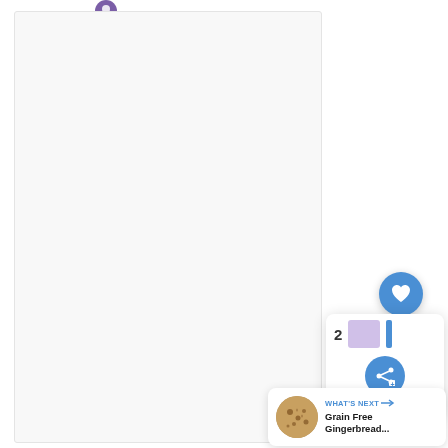[Figure (screenshot): Screenshot of a recipe website UI showing a large empty/white content area, a floating blue heart/like button, a share popup with count '2', and a 'What's Next' panel showing 'Grain Free Gingerbread...' with a cookie image]
WHAT'S NEXT
Grain Free Gingerbread...